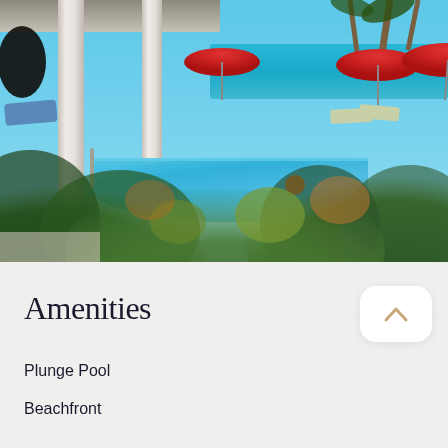[Figure (photo): Outdoor photo showing a beachfront property with a plunge pool surrounded by lush tropical greenery, white columns, red beach umbrellas, and the ocean visible in the background under a clear blue sky.]
Amenities
Plunge Pool
Beachfront